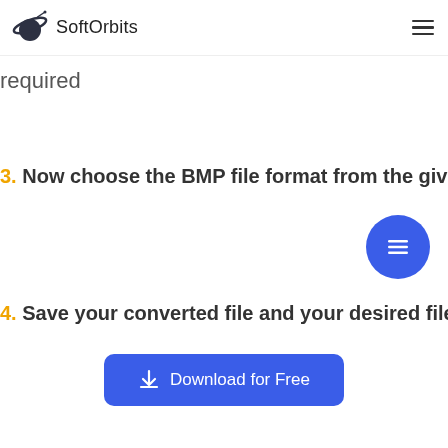SoftOrbits
required
3. Now choose the BMP file format from the given options
[Figure (other): Floating blue circular button with three horizontal lines (menu icon)]
4. Save your converted file and your desired file is ready
Download for Free